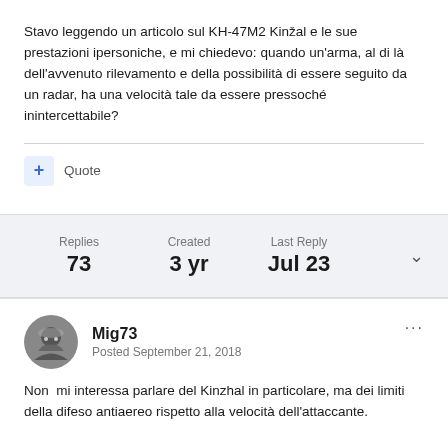Stavo leggendo un articolo sul KH-47M2 Kinžal e le sue prestazioni ipersoniche, e mi chiedevo: quando un'arma, al di là dell'avvenuto rilevamento e della possibilità di essere seguito da un radar, ha una velocità tale da essere pressoché inintercettabile?
+ Quote
Replies 73   Created 3 yr   Last Reply Jul 23
Mig73
Posted September 21, 2018
Non  mi interessa parlare del Kinzhal in particolare, ma dei limiti della difeso antiaereo rispetto alla velocità dell'attaccante.